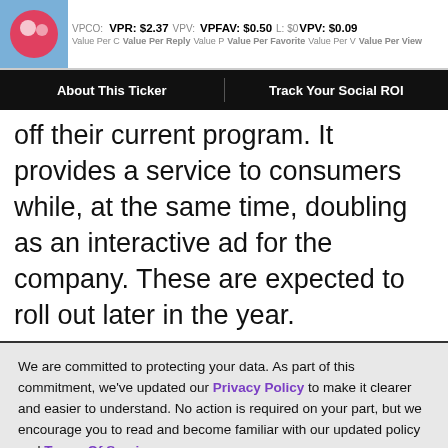VPCO: VPR: $2.37  VPV: VPFAV: $0.50  L: $0  VPV: $0.09 | Value Per Comment  Value Per Reply  Value Per  Value Per Favorite  Value Per  Value Per View
About This Ticker | Track Your Social ROI
off their current program. It provides a service to consumers while, at the same time, doubling as an interactive ad for the company. These are expected to roll out later in the year.
We are committed to protecting your data. As part of this commitment, we've updated our Privacy Policy to make it clearer and easier to understand. No action is required on your part, but we encourage you to read and become familiar with our updated policy and Terms Of Service.

Thank you for your continued support and readership.

-The AList Team
ACCEPT